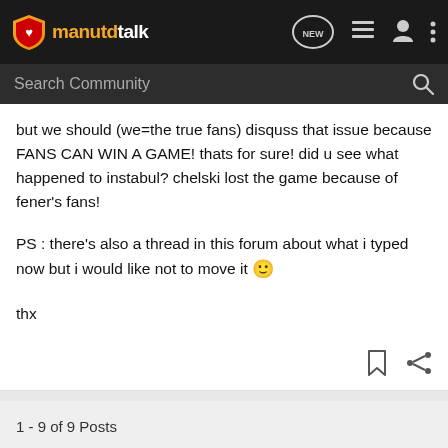manutdtalk
but we should (we=the true fans) disquss that issue because FANS CAN WIN A GAME! thats for sure! did u see what happened to instabul? chelski lost the game because of fener's fans!
PS : there's also a thread in this forum about what i typed now but i would like not to move it 🙂
thx
1 - 9 of 9 Posts